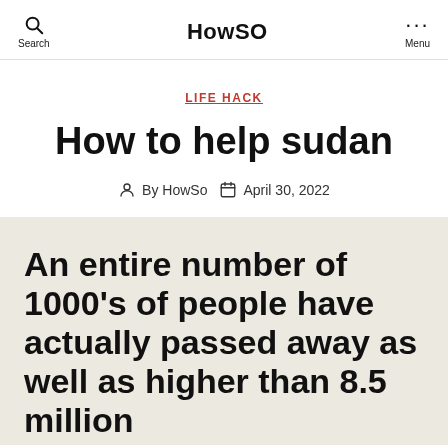Search  HowSO  Menu
LIFE HACK
How to help sudan
By HowSo  April 30, 2022
An entire number of 1000's of people have actually passed away as well as higher than 8.5 million